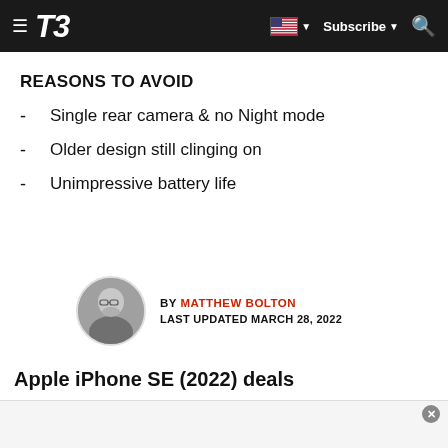T3 — Subscribe
REASONS TO AVOID
Single rear camera & no Night mode
Older design still clinging on
Unimpressive battery life
BY MATTHEW BOLTON
LAST UPDATED MARCH 28, 2022
Apple iPhone SE (2022) deals